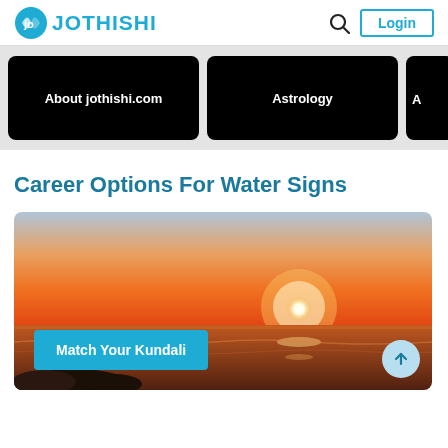JOTHISHI — Login
[Figure (screenshot): Navigation carousel with black cards: About jothishi.com, Astrology, and a partially visible third card]
Career Options For Water Signs
[Figure (photo): Sunset over water with orange sky and glowing sun on the horizon. Overlaid button: Match Your Kundali]
Match Your Kundali